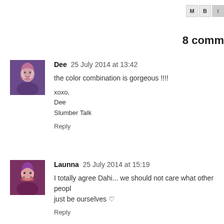[Figure (other): Social share/action icons bar (M, B, and partial third icon) in top-right corner]
8 comm
Dee  25 July 2014 at 13:42
the color combination is gorgeous !!!!

xoxo,
Dee
Slumber Talk

Reply
Launna  25 July 2014 at 15:19
I totally agree Dahi... we should not care what other peopl… just be ourselves ♡

Reply